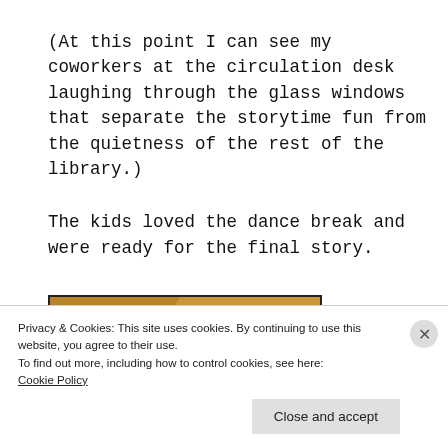(At this point I can see my coworkers at the circulation desk laughing through the glass windows that separate the storytime fun from the quietness of the rest of the library.)
The kids loved the dance break and were ready for the final story.
[Figure (illustration): Partial view of a book cover with golden/brown background and bold text reading 'THE']
Privacy & Cookies: This site uses cookies. By continuing to use this website, you agree to their use. To find out more, including how to control cookies, see here: Cookie Policy
Close and accept